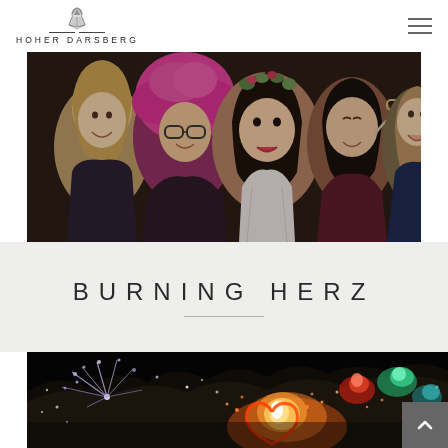HOHER DARSBERG
[Figure (photo): Group of young women posing together at what appears to be a wedding or party, one wearing a pink afro wig, one with a floral crown, one with decorative glasses prop. Dark background.]
BURNING HERZ
[Figure (photo): Nighttime outdoor fireworks and fire display showing a burning heart shape with sparks and colorful lights in the background.]